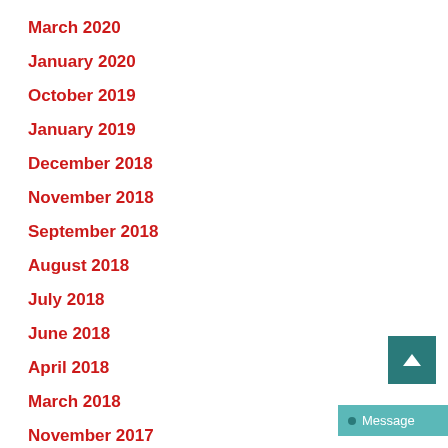March 2020
January 2020
October 2019
January 2019
December 2018
November 2018
September 2018
August 2018
July 2018
June 2018
April 2018
March 2018
November 2017
October 2017